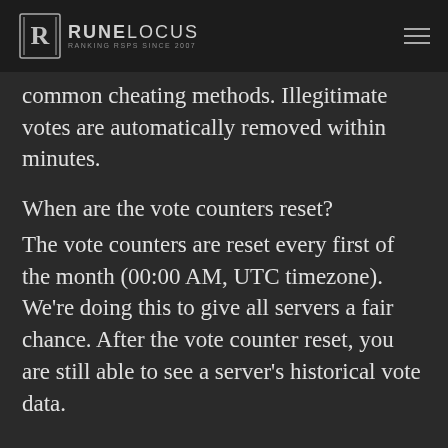RUNELOCUS — RANKING RSPS SINCE 2007
common cheating methods. Illegitimate votes are automatically removed within minutes.
When are the vote counters reset?
The vote counters are reset every first of the month (00:00 AM, UTC timezone). We're doing this to give all servers a fair chance. After the vote counter reset, you are still able to see a server's historical vote data.